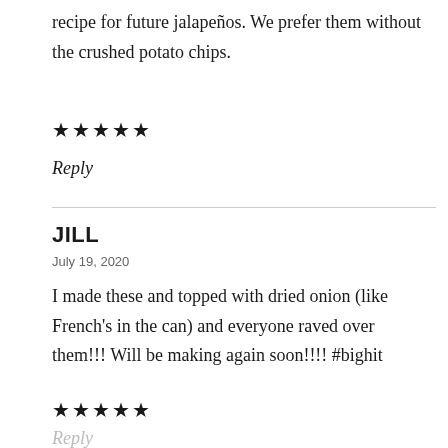recipe for future jalapeños. We prefer them without the crushed potato chips.
★★★★★
Reply
JILL
July 19, 2020
I made these and topped with dried onion (like French's in the can) and everyone raved over them!!! Will be making again soon!!!! #bighit
★★★★★
Reply